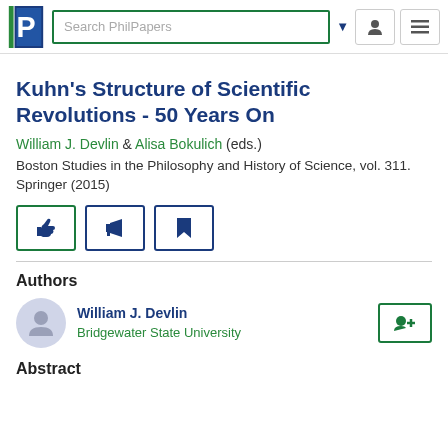Search PhilPapers
Kuhn's Structure of Scientific Revolutions - 50 Years On
William J. Devlin & Alisa Bokulich (eds.)
Boston Studies in the Philosophy and History of Science, vol. 311. Springer (2015)
Authors
William J. Devlin
Bridgewater State University
Abstract